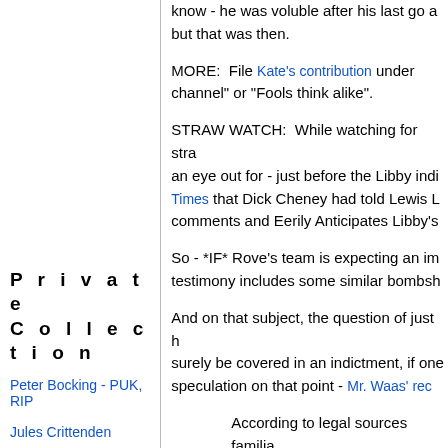know - he was voluble after his last go at - but that was then.
MORE:  File Kate's contribution under channel" or "Fools think alike".
STRAW WATCH:  While watching for stra- an eye out for - just before the Libby indi- Times that Dick Cheney had told Lewis L- comments and Eerily Anticipates Libby's
So - *IF* Rove's team is expecting an im- testimony includes some similar bombsh-
And on that subject, the question of just h- surely be covered in an indictment, if one- speculation on that point - Mr. Waas' rec-
According to legal sources familia- said that prior to talking with Coop- that he first heard that Plame wor- was a journalist, although he has recall the name of the person or th- conversation.
Pretty thin soup as explanations go.  OT( reminded me,  Karl Rove was working w-
P r i v a t e
C o l l e c t i o n
Peter Bocking - PUK, RIP
Jules Crittenden
Free Will